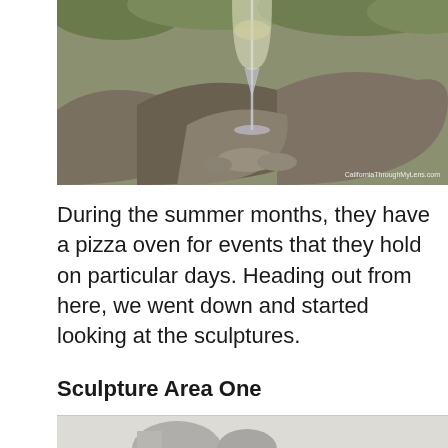[Figure (photo): A wine glass balanced on rocks outdoors, with vegetation in background. Watermark reads 'CaliforniaThroughMyLens.com']
During the summer months, they have a pizza oven for events that they hold on particular days. Heading out from here, we went down and started looking at the sculptures.
Sculpture Area One
[Figure (photo): Bottom portion of a photo showing what appears to be a sculpture, partially visible at page bottom]